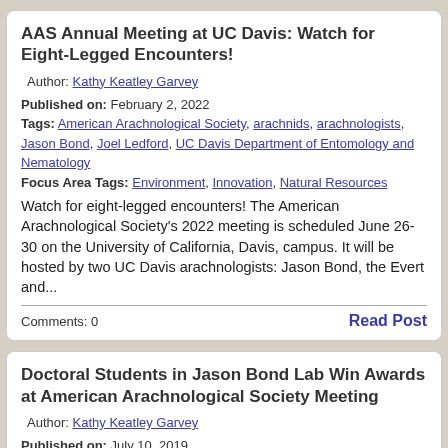AAS Annual Meeting at UC Davis: Watch for Eight-Legged Encounters!
Author: Kathy Keatley Garvey
Published on: February 2, 2022
Tags: American Arachnological Society, arachnids, arachnologists, Jason Bond, Joel Ledford, UC Davis Department of Entomology and Nematology
Focus Area Tags: Environment, Innovation, Natural Resources
Watch for eight-legged encounters!  The American Arachnological Society's 2022 meeting is scheduled June 26-30 on the University of California, Davis, campus.  It will be hosted by two UC Davis arachnologists: Jason Bond, the Evert and...
Comments: 0
Read Post
Doctoral Students in Jason Bond Lab Win Awards at American Arachnological Society Meeting
Author: Kathy Keatley Garvey
Published on: July 10, 2019
Tags: American Arachnological Society, Auburn University, Jason Bond, Lacie Newton, Rebecca Godwin, spiders, student competition, trapdoor spiders, UC Davis Department of Entomology and Nematology
Focus Area Tags: Environment, Innovation, Natural Resources, Yard & Garden
Two doctoral students from the Jason Bond laboratory, UC...